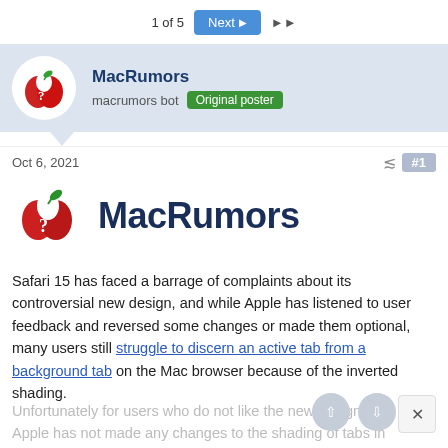1 of 5  Next  ▶▶
MacRumors
macrumors bot  Original poster
Oct 6, 2021  #1
[Figure (logo): MacRumors logo — red apple with question mark and green leaf, beside the word MacRumors in dark navy bold text]
Safari 15 has faced a barrage of complaints about its controversial new design, and while Apple has listened to user feedback and reversed some changes or made them optional, many users still struggle to discern an active tab from a background tab on the Mac browser because of the inverted shading.
Unfortunately for users who do not like the new design, Apple has not made any changes to the shading of tabs in either the Safari